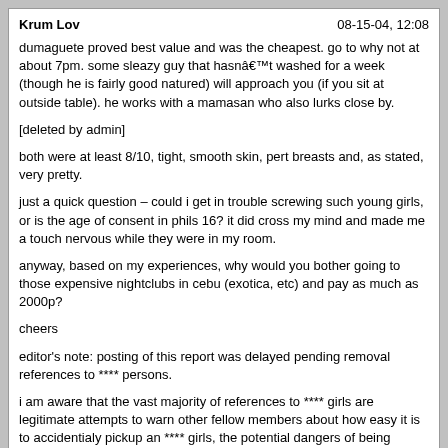Krum Lov — 08-15-04, 12:08
dumaguete proved best value and was the cheapest. go to why not at about 7pm. some sleazy guy that hasn't washed for a week (though he is fairly good natured) will approach you (if you sit at outside table). he works with a mamasan who also lurks close by.

[deleted by admin]

both were at least 8/10, tight, smooth skin, pert breasts and, as stated, very pretty.

just a quick question – could i get in trouble screwing such young girls, or is the age of consent in phils 16? it did cross my mind and made me a touch nervous while they were in my room.

anyway, based on my experiences, why would you bother going to those expensive nightclubs in cebu (exotica, etc) and pay as much as 2000p?

cheers

editor's note: posting of this report was delayed pending removal references to **** persons.

i am aware that the vast majority of references to **** girls are legitimate attempts to warn other fellow members about how easy it is to accidentialy pickup an **** girls, the potential dangers of being caught with **** girls, etc. however, past discussions in the forum has repeatedly demonstrated that the subject simply cannot be discussed intelligently, in any form or for any reason, without being misinterperated, and without starting flame wars.

anyway, to avoid delays in future reports, please do not post references to **** persons in the forum. thanks!
Dragon Slayer — 08-19-04, 10:57